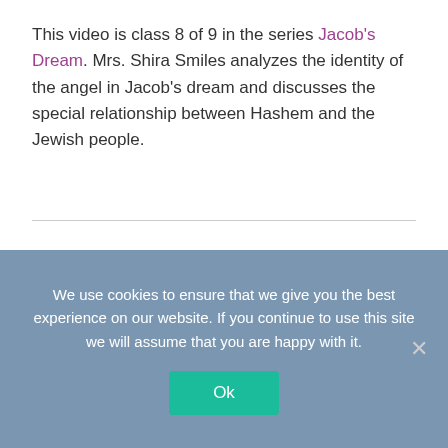This video is class 8 of 9 in the series Jacob's Dream. Mrs. Shira Smiles analyzes the identity of the angel in Jacob's dream and discusses the special relationship between Hashem and the Jewish people.
IN DEPTH CHUMASH
Connecting Heaven
We use cookies to ensure that we give you the best experience on our website. If you continue to use this site we will assume that you are happy with it.